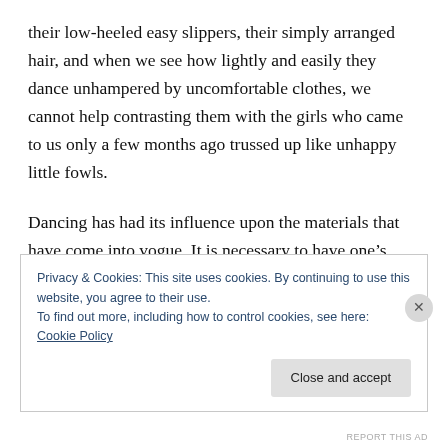their low-heeled easy slippers, their simply arranged hair, and when we see how lightly and easily they dance unhampered by uncomfortable clothes, we cannot help contrasting them with the girls who came to us only a few months ago trussed up like unhappy little fowls.
Dancing has had its influence upon the materials that have come into vogue. It is necessary to have one's frocks soft and light. A stiff, heavy material looks awkward and makes harsh lines about the figure in the charming measures of the dance. In consequence there has arisen a tremendous demand for soft
Privacy & Cookies: This site uses cookies. By continuing to use this website, you agree to their use.
To find out more, including how to control cookies, see here: Cookie Policy
Close and accept